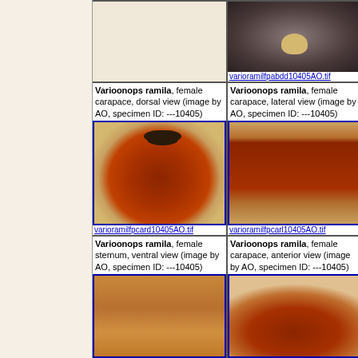[Figure (photo): Top row cell 1 - empty/blank pale background image area]
[Figure (photo): Varioonops ramila female abdomen dorsal view - dark specimen photo with pale stripe, specimen ID ---10405. Link: varioramilfpabdd10405AO.tif]
Varioonops ramila, female carapace, dorsal view (image by AO, specimen ID: ---10405)
[Figure (photo): Varioonops ramila female carapace dorsal view - round reddish-brown carapace with legs. Link: varioramilfpcard10405AO.tif]
Varioonops ramila, female carapace, lateral view (image by AO, specimen ID: ---10405)
[Figure (photo): Varioonops ramila female carapace lateral view - oval reddish-brown carapace with legs. Link: varioramilfpcarl10405AO.tif]
Varioonops ramila, female carapace, anterior view (image by AO, specimen ID: ---10405) - partially visible
[Figure (photo): Partial right-column image of Varioonops ramila. Link: va...]
Varioonops ramila, female sternum, ventral view (image by AO, specimen ID: ---10405)
[Figure (photo): Varioonops ramila female sternum ventral view - orange-brown hairy sternum]
Varioonops ramila, female carapace, anterior view (image by AO, specimen ID: ---10405)
[Figure (photo): Varioonops ramila female carapace anterior view - reddish-brown round carapace from front]